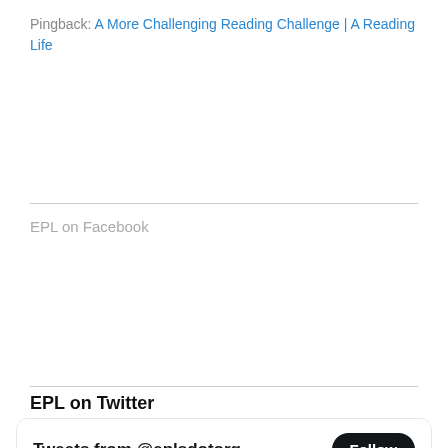Pingback: A More Challenging Reading Challenge | A Reading Life
EPL on Facebook
EPL on Twitter
[Figure (screenshot): Twitter widget showing Tweets from @eplsdotorg with a Follow button, and a tweet from EverettPublicLibrary (@eplsdotorg) posted 2h ago: 'Want to learn more about NASA's return to the Moon or see the latest images from space from the James Webb Telescope? Join us at the Evergreen Branch Library as we host']